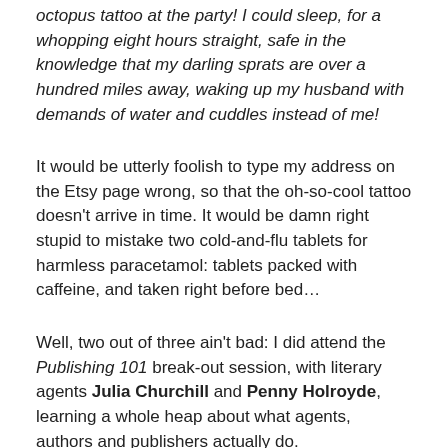octopus tattoo at the party! I could sleep, for a whopping eight hours straight, safe in the knowledge that my darling sprats are over a hundred miles away, waking up my husband with demands of water and cuddles instead of me!
It would be utterly foolish to type my address on the Etsy page wrong, so that the oh-so-cool tattoo doesn't arrive in time. It would be damn right stupid to mistake two cold-and-flu tablets for harmless paracetamol: tablets packed with caffeine, and taken right before bed…
Well, two out of three ain't bad: I did attend the Publishing 101 break-out session, with literary agents Julia Churchill and Penny Holroyde, learning a whole heap about what agents, authors and publishers actually do.